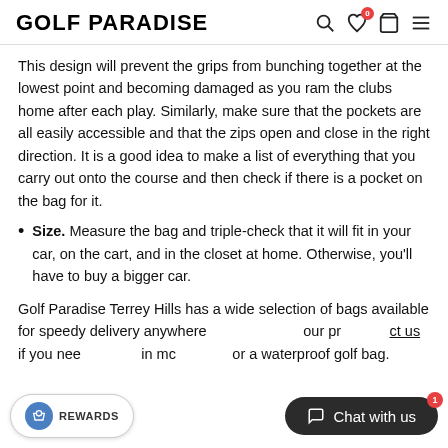GOLF PARADISE
This design will prevent the grips from bunching together at the lowest point and becoming damaged as you ram the clubs home after each play. Similarly, make sure that the pockets are all easily accessible and that the zips open and close in the right direction. It is a good idea to make a list of everything that you carry out onto the course and then check if there is a pocket on the bag for it.
Size. Measure the bag and triple-check that it will fit in your car, on the cart, and in the closet at home. Otherwise, you'll have to buy a bigger car.
Golf Paradise Terrey Hills has a wide selection of bags available for speedy delivery anywhere ... contact us if you need ... or a waterproof golf bag.